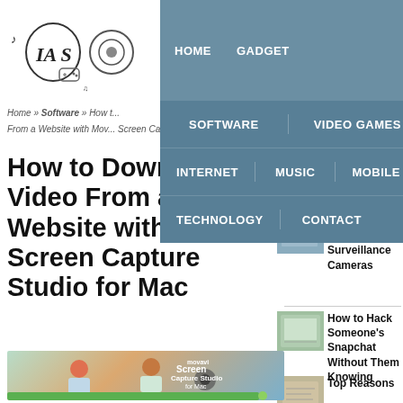HOME   GADGET   SOFTWARE   VIDEO GAMES   INTERNET   MUSIC   MOBILE APPS   TECHNOLOGY   CONTACT
Home » Software » How t...
From a Website with Movavi Screen Capture Studio for Mac
How to Download Video From a Website with Movavi Screen Capture Studio for Mac
[Figure (illustration): Movavi Screen Capture Studio for Mac promotional illustration showing two animated characters working with film equipment]
Ways to Improve Your Personal Finances
3 Reasons to Install Office Surveillance Cameras
How to Hack Someone's Snapchat Without Them Knowing
Top Reasons